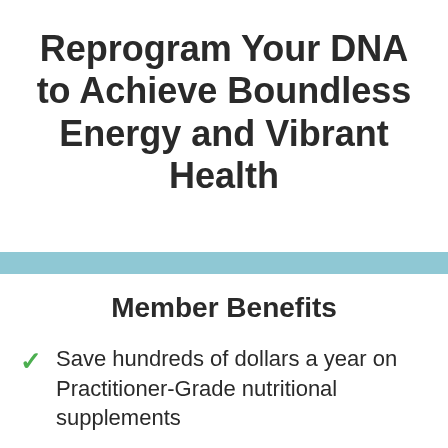Reprogram Your DNA to Achieve Boundless Energy and Vibrant Health
Member Benefits
Save hundreds of dollars a year on Practitioner-Grade nutritional supplements
Access to integrative protocols based on research, clinical, and industry expertise
Over 300 brands of high-quality nutritional